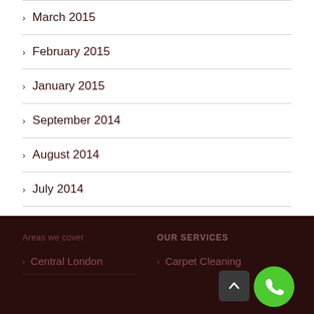March 2015
February 2015
January 2015
September 2014
August 2014
July 2014
June 2014
Areas we cover | OUR SERVICES | > Central London | > Carpet Cleaning